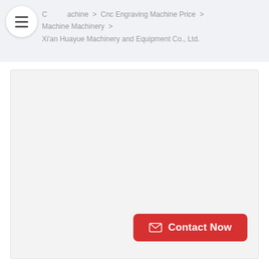C Machine > Cnc Engraving Machine Price > Machine Machinery > Xi'an Huayue Machinery and Equipment Co., Ltd.
[Figure (photo): Product image placeholder area - large light gray rectangle]
Contact Now